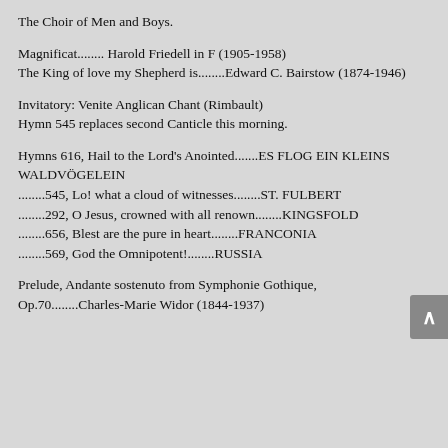The Choir of Men and Boys.
Magnificat........ Harold Friedell in F (1905-1958)
The King of love my Shepherd is........Edward C. Bairstow (1874-1946)
Invitatory: Venite Anglican Chant (Rimbault)
Hymn 545 replaces second Canticle this morning.
Hymns 616, Hail to the Lord's Anointed.......ES FLOG EIN KLEINS WALDVÖGELEIN
........545, Lo! what a cloud of witnesses........ST. FULBERT
........292, O Jesus, crowned with all renown........KINGSFOLD
........656, Blest are the pure in heart........FRANCONIA
........569, God the Omnipotent!........RUSSIA
Prelude, Andante sostenuto from Symphonie Gothique, Op.70........Charles-Marie Widor (1844-1937)